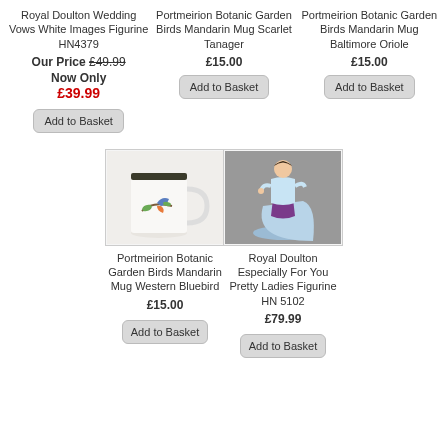Royal Doulton Wedding Vows White Images Figurine HN4379
Our Price £49.99 Now Only £39.99
Add to Basket
Portmeirion Botanic Garden Birds Mandarin Mug Scarlet Tanager
£15.00
Add to Basket
Portmeirion Botanic Garden Birds Mandarin Mug Baltimore Oriole
£15.00
Add to Basket
[Figure (photo): Portmeirion Botanic Garden Birds Mandarin Mug Western Bluebird - white mug with bird illustration]
Portmeirion Botanic Garden Birds Mandarin Mug Western Bluebird
£15.00
Add to Basket
[Figure (photo): Royal Doulton Especially For You Pretty Ladies Figurine HN 5102 - figurine of lady in blue dress with purple sash]
Royal Doulton Especially For You Pretty Ladies Figurine HN 5102
£79.99
Add to Basket